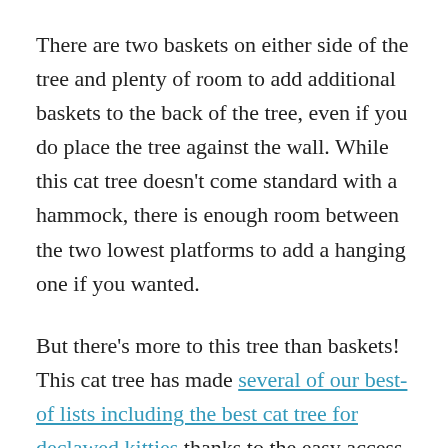There are two baskets on either side of the tree and plenty of room to add additional baskets to the back of the tree, even if you do place the tree against the wall. While this cat tree doesn't come standard with a hammock, there is enough room between the two lowest platforms to add a hanging one if you wanted.
But there's more to this tree than baskets! This cat tree has made several of our best-of lists including the best cat tree for declawed kitties thanks to the easy access ramp on the front of the cat tree. I also love that this ramp has a large scratching area at an angle that some cats will prefer. It also makes up for the smaller scratching areas that you find across the rest of the tree.